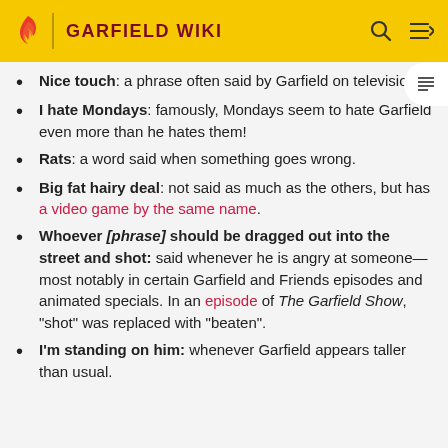GARFIELD WIKI
Nice touch: a phrase often said by Garfield on television.
I hate Mondays: famously, Mondays seem to hate Garfield even more than he hates them!
Rats: a word said when something goes wrong.
Big fat hairy deal: not said as much as the others, but has a video game by the same name.
Whoever [phrase] should be dragged out into the street and shot: said whenever he is angry at someone—most notably in certain Garfield and Friends episodes and animated specials. In an episode of The Garfield Show, "shot" was replaced with "beaten".
I'm standing on him: whenever Garfield appears taller than usual.